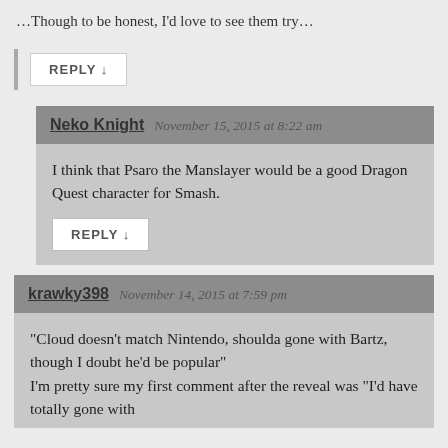...Though to be honest, I’d love to see them try...
REPLY ↓
Neko Knight  November 15, 2015 at 8:22 am
I think that Psaro the Manslayer would be a good Dragon Quest character for Smash.
REPLY ↓
krawky398  November 14, 2015 at 7:59 pm
“Cloud doesn’t match Nintendo, shoulda gone with Bartz, though I doubt he’d be popular” I’m pretty sure my first comment after the reveal was “I’d have totally gone with